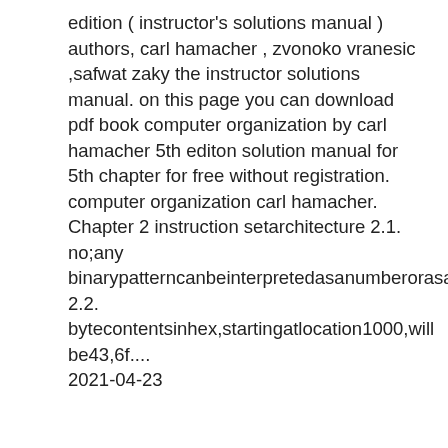edition ( instructor's solutions manual ) authors, carl hamacher , zvonoko vranesic ,safwat zaky the instructor solutions manual. on this page you can download pdf book computer organization by carl hamacher 5th editon solution manual for 5th chapter for free without registration. computer organization carl hamacher. Chapter 2 instruction setarchitecture 2.1. no;any binarypatterncanbeinterpretedasanumberorasaninstruction. 2.2. bytecontentsinhex,startingatlocation1000,will be43,6f.... 2021-04-23